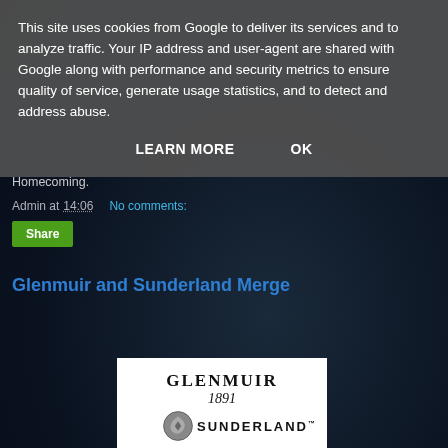This site uses cookies from Google to deliver its services and to analyze traffic. Your IP address and user-agent are shared with Google along with performance and security metrics to ensure quality of service, generate usage statistics, and to detect and address abuse.
LEARN MORE    OK
Homecoming.
Admin at 14:06    No comments:
Share
Glenmuir and Sunderland Merge
[Figure (logo): Glenmuir 1891 and Sunderland branded logo image showing the Glenmuir 1891 text at top and Sunderland with logo emblem at bottom]